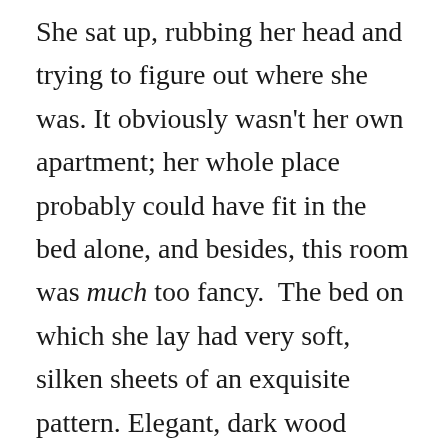She sat up, rubbing her head and trying to figure out where she was. It obviously wasn't her own apartment; her whole place probably could have fit in the bed alone, and besides, this room was much too fancy.  The bed on which she lay had very soft, silken sheets of an exquisite pattern. Elegant, dark wood furniture filled the room, and there was a large, curtained window covering most of one wall.